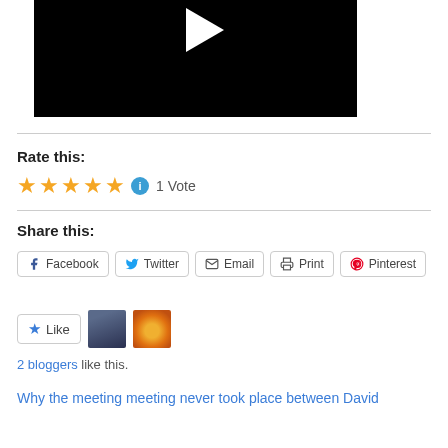[Figure (other): Video player thumbnail with black background and white play triangle]
Rate this:
★★★★★ ℹ 1 Vote
Share this:
Facebook  Twitter  Email  Print  Pinterest
Like  [2 blogger avatars]
2 bloggers like this.
Why the meeting meeting never took place between David